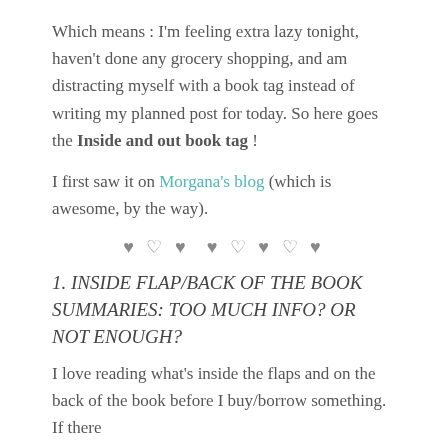Which means : I'm feeling extra lazy tonight, haven't done any grocery shopping, and am distracting myself with a book tag instead of writing my planned post for today. So here goes the Inside and out book tag !
I first saw it on Morgana's blog (which is awesome, by the way).
♥ ♡ ♥ ♥ ♡ ♥ ♡ ♥
1. INSIDE FLAP/BACK OF THE BOOK SUMMARIES: TOO MUCH INFO? OR NOT ENOUGH?
I love reading what's inside the flaps and on the back of the book before I buy/borrow something. If there